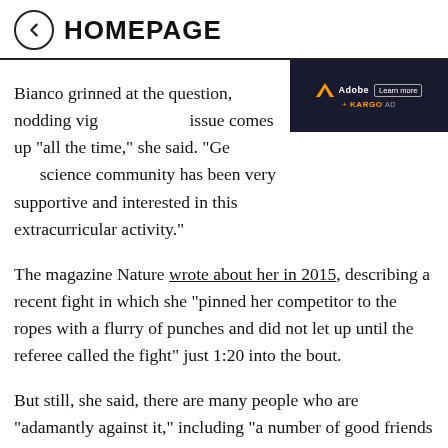HOMEPAGE
Bianco grinned at the question, nodding vig... issue comes up "all the time," she said. "Ge... science community has been very supportive and interested in this extracurricular activity."
The magazine Nature wrote about her in 2015, describing a recent fight in which she "pinned her competitor to the ropes with a flurry of punches and did not let up until the referee called the fight" just 1:20 into the bout.
But still, she said, there are many people who are “adamantly against it,” including “a number of good friends that, every time I see them, we just can’t talk about anything else.”
[Figure (other): Adobe advertisement overlay with Learn more button and KARGO AD label]